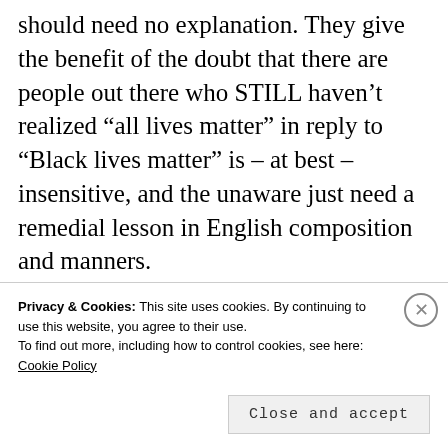should need no explanation. They give the benefit of the doubt that there are people out there who STILL haven't realized “all lives matter” in reply to “Black lives matter” is – at best – insensitive, and the unaware just need a remedial lesson in English composition and manners.
In 2016 I Facebook-shared this article from Gawker (hey, remember
Privacy & Cookies: This site uses cookies. By continuing to use this website, you agree to their use.
To find out more, including how to control cookies, see here: Cookie Policy